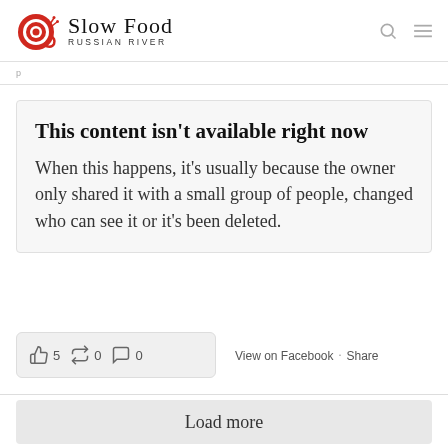Slow Food RUSSIAN RIVER
This content isn't available right now
When this happens, it's usually because the owner only shared it with a small group of people, changed who can see it or it's been deleted.
5  0  0  View on Facebook · Share
Load more